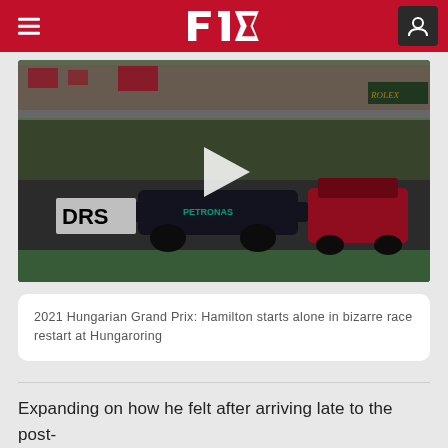F1 navigation bar with hamburger menu, F1 logo, and user icon
[Figure (photo): F1 race photo showing a Mercedes car with DRS sign in foreground, safety car behind, and spectators in background at Hungaroring. A play button overlay indicates this is a video thumbnail.]
2021 Hungarian Grand Prix: Hamilton starts alone in bizarre race restart at Hungaroring
Expanding on how he felt after arriving late to the post-